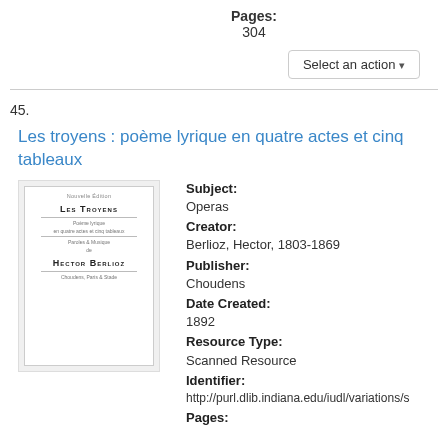Pages:
304
Select an action
45.
Les troyens : poème lyrique en quatre actes et cinq tableaux
[Figure (photo): Thumbnail image of book cover for Les Troyens by Hector Berlioz, published by Choudens, Paris & Stade, 1892]
Subject:
Operas
Creator:
Berlioz, Hector, 1803-1869
Publisher:
Choudens
Date Created:
1892
Resource Type:
Scanned Resource
Identifier:
http://purl.dlib.indiana.edu/iudl/variations/s
Pages: